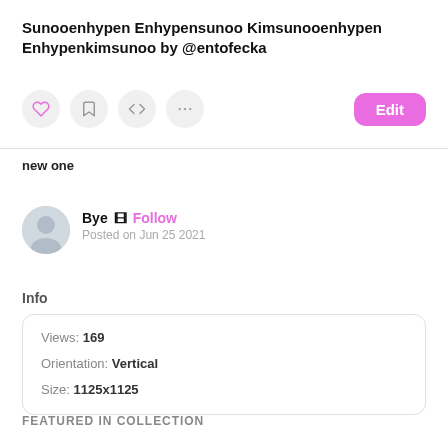Sunooenhypen Enhypensunoo Kimsunooenhypen Enhypenkimsunoo by @entofecka
new one
Bye 🎞 Follow
Posted on Jun 25 2021
Info
| Views: | 169 |
| Orientation: | Vertical |
| Size: | 1125x1125 |
FEATURED IN COLLECTION